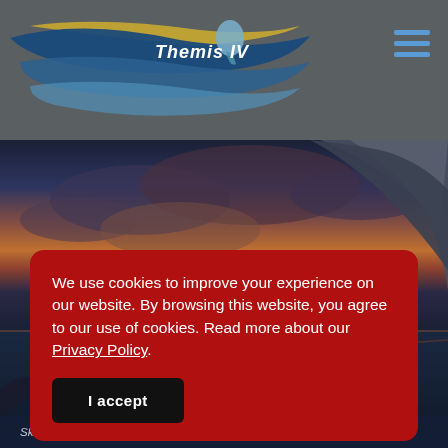[Figure (logo): Themis IV boat charter logo with stylized wave and mermaid in blue and gold, with text 'Themis IV']
[Figure (photo): Dramatic sunset over the sea with rocky cliffs on the right, dramatic clouds in orange, purple and dark blue tones]
We use cookies to improve your experience on our website. By browsing this website, you agree to our use of cookies. Read more about our Privacy Policy.
I accept
Skiathos is one of the most popular islands of the N...